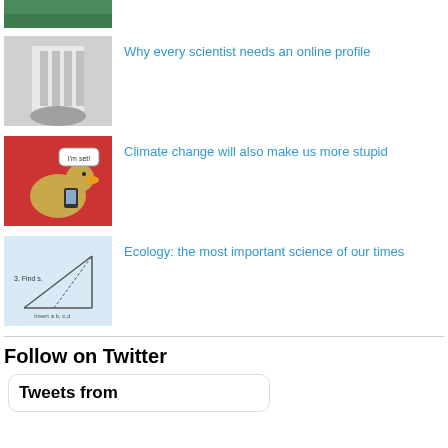[Figure (photo): Partial top of a green-colored image, cropped]
[Figure (photo): Black and white photo of a person covering their face with a hand]
Why every scientist needs an online profile
[Figure (illustration): Cartoon of a duck on a red background holding a phone with speech bubble]
Climate change will also make us more stupid
[Figure (illustration): Sketch illustration of a geometric/diagram drawing on light blue background]
Ecology: the most important science of our times
Follow on Twitter
Tweets from